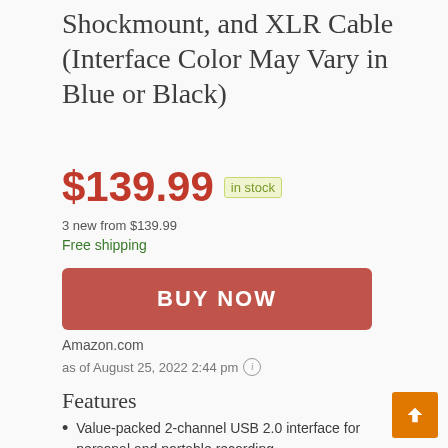Shockmount, and XLR Cable (Interface Color May Vary in Blue or Black)
$139.99  in stock
3 new from $139.99
Free shipping
BUY NOW
Amazon.com
as of August 25, 2022 2:44 pm
Features
Value-packed 2-channel USB 2.0 interface for personal and portable recording